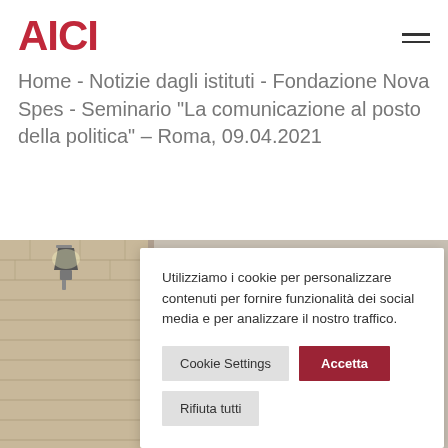AICI
Home - Notizie dagli istituti - Fondazione Nova Spes - Seminario "La comunicazione al posto della politica" – Roma, 09.04.2021
[Figure (photo): Architectural photo showing brick wall with a street lamp, outdoor scene with warm tones.]
Utilizziamo i cookie per personalizzare contenuti per fornire funzionalità dei social media e per analizzare il nostro traffico.
Cookie Settings | Accetta
Rifiuta tutti